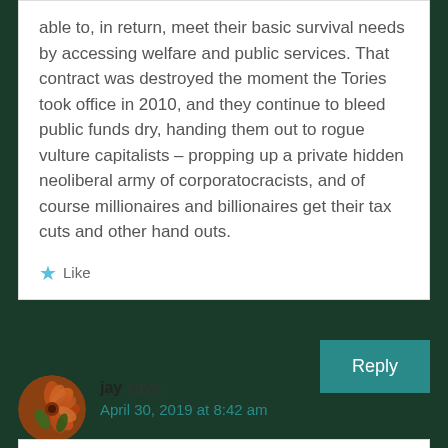able to, in return, meet their basic survival needs by accessing welfare and public services. That contract was destroyed the moment the Tories took office in 2010, and they continue to bleed public funds dry, handing them out to rogue vulture capitalists – propping up a private hidden neoliberal army of corporatocracists, and of course millionaires and billionaires get their tax cuts and other hand outs.
★ Like
Reply
jay says: April 30, 2019 at 8:42 am